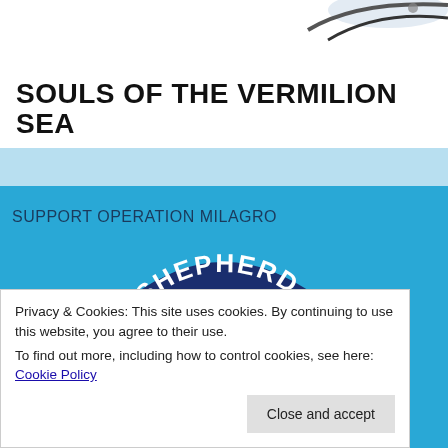SOULS OF THE VERMILION SEA
[Figure (illustration): Partial view of what appears to be snorkeling/diving mask at the top right]
SUPPORT OPERATION MILAGRO
[Figure (logo): Sea Shepherd organization circular logo with fish and marine animal imagery, partially visible]
Privacy & Cookies: This site uses cookies. By continuing to use this website, you agree to their use.
To find out more, including how to control cookies, see here: Cookie Policy
Close and accept